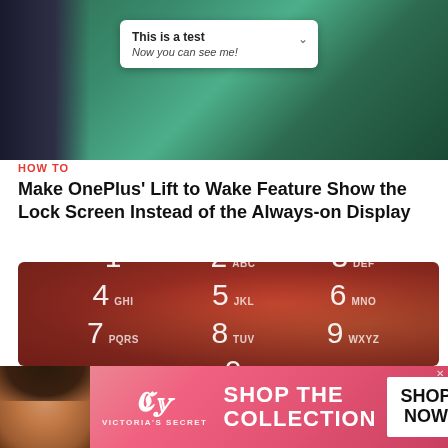[Figure (screenshot): Screenshot of a phone showing a notification with 'This is a test' and 'Now you can see me!' text on a green Android lock screen background]
HOW TO
Make OnePlus' Lift to Wake Feature Show the Lock Screen Instead of the Always-on Display
[Figure (screenshot): Phone keypad/PIN entry screen with red gradient background showing numeric keypad: 1, 2 ABC, 3 DEF, 4 GHI, 5 JKL, 6 MNO, 7 PQRS, 8 TUV, 9 WXYZ, 0, and backspace key]
[Figure (photo): Victoria's Secret advertisement banner with a woman's photo, VS logo, 'SHOP THE COLLECTION' text, and 'SHOP NOW' button]